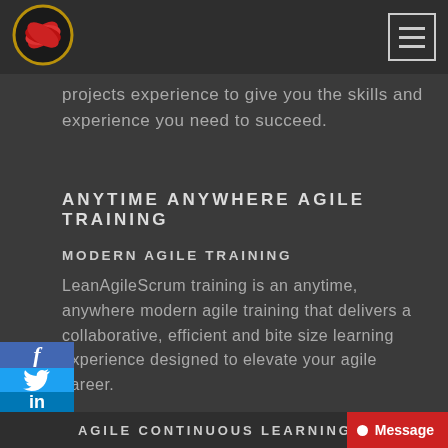[Figure (logo): Circular logo with red fan/leaf design on dark background, gold circle border]
[Figure (other): Hamburger menu button icon with three horizontal lines, outlined square border]
projects experience to give you the skills and experience you need to succeed.
ANYTIME ANYWHERE AGILE TRAINING
MODERN AGILE TRAINING
LeanAgileScrum training is an anytime, anywhere modern agile training that delivers a collaborative, efficient and bite size learning experience designed to elevate your agile career.
AGILE CONTINUOUS LEARNING PROC